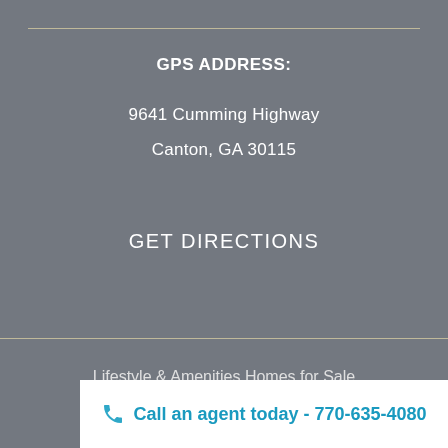GPS ADDRESS:
9641 Cumming Highway
Canton, GA 30115
GET DIRECTIONS
Lifestyle & Amenities Homes for Sale
Gallery
Call an agent today - 770-635-4080